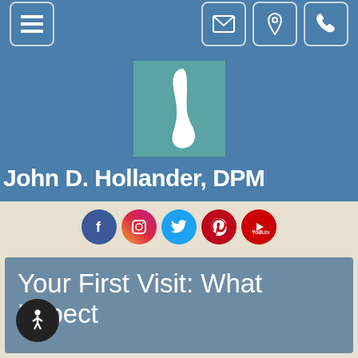Navigation bar with menu, email, location, and phone icons
[Figure (logo): White silhouette of a foot/ankle on teal background, medical practice logo]
John D. Hollander, DPM
[Figure (infographic): Social media icons: Facebook, Instagram, Twitter, Pinterest, YouTube]
Your First Visit: What to Expect